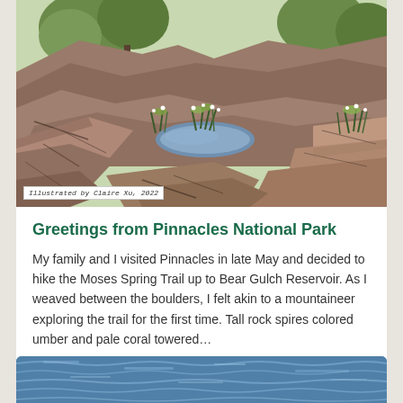[Figure (illustration): Watercolor illustration of Pinnacles National Park showing rocky boulder formations with water pooling between rocks, green grasses and shrubs growing in crevices, and trees in the background. Caption reads: Illustrated by Claire Xu, 2022.]
Illustrated by Claire Xu, 2022
Greetings from Pinnacles National Park
My family and I visited Pinnacles in late May and decided to hike the Moses Spring Trail up to Bear Gulch Reservoir. As I weaved between the boulders, I felt akin to a mountaineer exploring the trail for the first time. Tall rock spires colored umber and pale coral towered…
[Figure (illustration): Partial view of a blue water/ocean scene at the bottom of the page, partially cut off.]